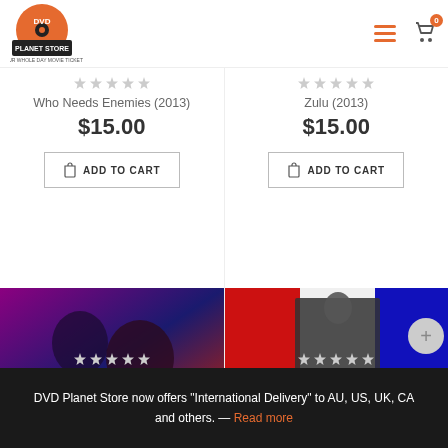[Figure (logo): DVD Planet Store logo — orange disc with DVD text and planet store branding]
Who Needs Enemies (2013)
$15.00
ADD TO CART
Zulu (2013)
$15.00
ADD TO CART
[Figure (photo): Movie poster for Crno 89 — two male faces against a blue/red background with text CR NO :89]
[Figure (photo): Movie poster for Essex Boys: Retribution — man with gun, action movie style red/blue background]
DVD Planet Store now offers "International Delivery" to AU, US, UK, CA and others. — Read more